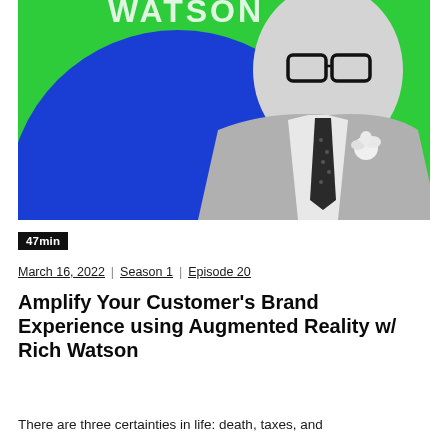[Figure (photo): Podcast cover art showing a man in a beige suit with a white rose boutonniere and dark polka-dot tie, wearing thick-framed glasses, against a green and blue abstract background. Text 'WATSON' partially visible at top in white letters.]
47min
March 16, 2022  |  Season 1  |  Episode 20
Amplify Your Customer's Brand Experience using Augmented Reality w/ Rich Watson
There are three certainties in life: death, taxes, and